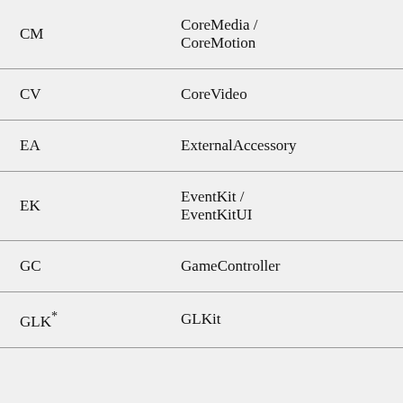| Abbreviation | Framework |
| --- | --- |
| CM | CoreMedia / CoreMotion |
| CV | CoreVideo |
| EA | ExternalAccessory |
| EK | EventKit / EventKitUI |
| GC | GameController |
| GLK* | GLKit |